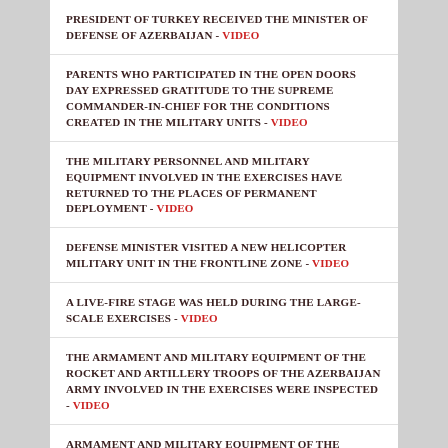PRESIDENT OF TURKEY RECEIVED THE MINISTER OF DEFENSE OF AZERBAIJAN - VIDEO
PARENTS WHO PARTICIPATED IN THE OPEN DOORS DAY EXPRESSED GRATITUDE TO THE SUPREME COMMANDER-IN-CHIEF FOR THE CONDITIONS CREATED IN THE MILITARY UNITS - VIDEO
THE MILITARY PERSONNEL AND MILITARY EQUIPMENT INVOLVED IN THE EXERCISES HAVE RETURNED TO THE PLACES OF PERMANENT DEPLOYMENT - VIDEO
DEFENSE MINISTER VISITED A NEW HELICOPTER MILITARY UNIT IN THE FRONTLINE ZONE - VIDEO
A LIVE-FIRE STAGE WAS HELD DURING THE LARGE-SCALE EXERCISES - VIDEO
THE ARMAMENT AND MILITARY EQUIPMENT OF THE ROCKET AND ARTILLERY TROOPS OF THE AZERBAIJAN ARMY INVOLVED IN THE EXERCISES WERE INSPECTED - VIDEO
ARMAMENT AND MILITARY EQUIPMENT OF THE ROCKET